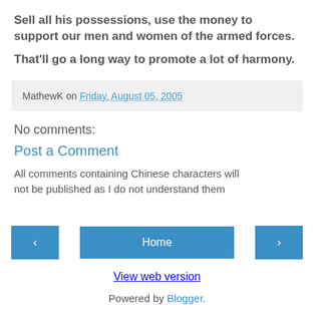Sell all his possessions, use the money to support our men and women of the armed forces.
That'll go a long way to promote a lot of harmony.
MathewK on Friday, August 05, 2005
No comments:
Post a Comment
All comments containing Chinese characters will not be published as I do not understand them
< Home >
View web version
Powered by Blogger.